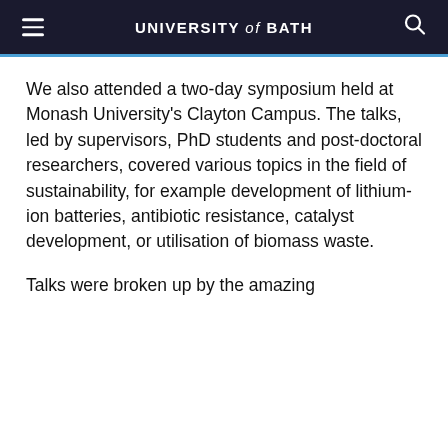UNIVERSITY of BATH
We also attended a two-day symposium held at Monash University's Clayton Campus. The talks, led by supervisors, PhD students and post-doctoral researchers, covered various topics in the field of sustainability, for example development of lithium-ion batteries, antibiotic resistance, catalyst development, or utilisation of biomass waste.
Talks were broken up by the amazing